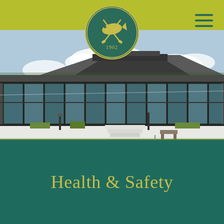[Figure (logo): Golf club circular logo with fish and crossed golf clubs, dated 1902, on olive/yellow-green background header bar]
[Figure (photo): Golf club building with large glass windows facade and manicured green fairway in foreground, outdoor terrace with white walls and plantings]
Health & Safety